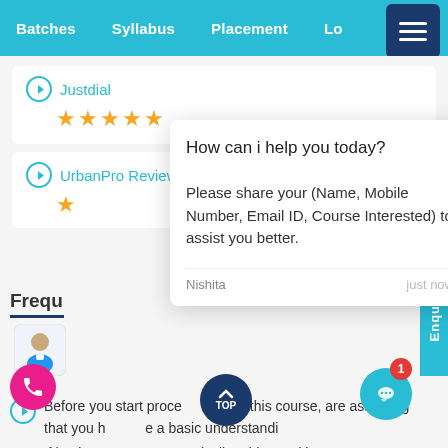Batches  Syllabus  Placement  Lo...
Justdial
★★★★★
UrbanPro Reviews
★
How can i help you today?

Please share your (Name, Mobile Number, Email ID, Course Interested) to assist you better.

Nishita  just now
Frequ
Before you start proceeding with this course, are assuming that you have a basic understanding of business processes typically addressed in